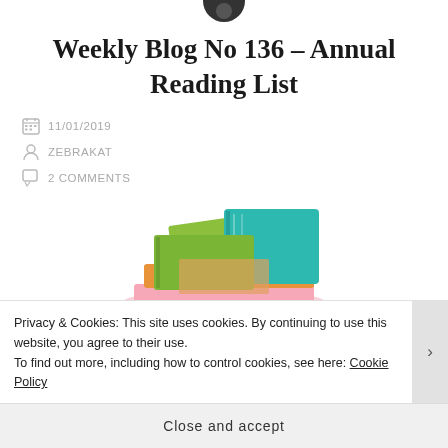Weekly Blog No 136 – Annual Reading List
11/01/2019
ZEBRAKAT
2 COMMENTS
[Figure (illustration): Stack of colorful books in orange, green, teal, and pink]
Privacy & Cookies: This site uses cookies. By continuing to use this website, you agree to their use. To find out more, including how to control cookies, see here: Cookie Policy
Close and accept